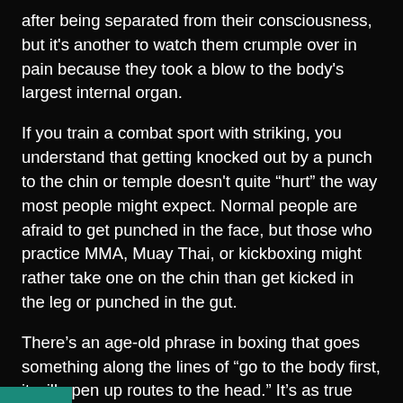after being separated from their consciousness, but it's another to watch them crumple over in pain because they took a blow to the body's largest internal organ.
If you train a combat sport with striking, you understand that getting knocked out by a punch to the chin or temple doesn't quite “hurt” the way most people might expect. Normal people are afraid to get punched in the face, but those who practice MMA, Muay Thai, or kickboxing might rather take one on the chin than get kicked in the leg or punched in the gut.
There’s an age-old phrase in boxing that goes something along the lines of “go to the body first, it will open up routes to the head.” It’s as true now as it was whenever the first boxing coach gave that advice many